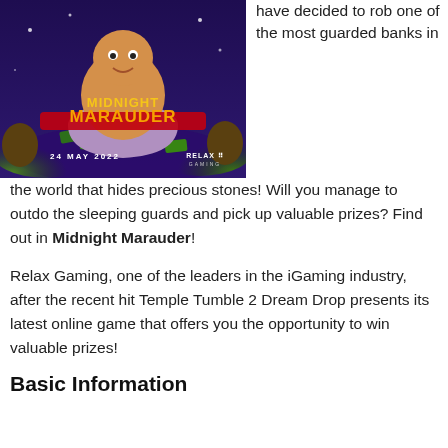[Figure (illustration): Promotional game image for Midnight Marauder by Relax Gaming, showing a cartoon fat character sitting in a bathtub full of money and candy, with gold text reading MIDNIGHT MARAUDER, date 24 MAY 2022, and Relax Gaming logo, on a dark purple background.]
have decided to rob one of the most guarded banks in the world that hides precious stones! Will you manage to outdo the sleeping guards and pick up valuable prizes? Find out in Midnight Marauder!
Relax Gaming, one of the leaders in the iGaming industry, after the recent hit Temple Tumble 2 Dream Drop presents its latest online game that offers you the opportunity to win valuable prizes!
Basic Information